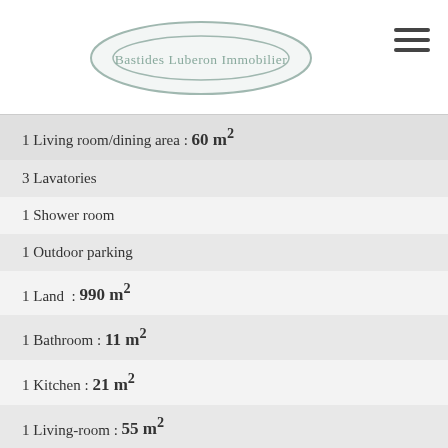Bastides Luberon Immobilier
1 Living room/dining area : 60 m²
3 Lavatories
1 Shower room
1 Outdoor parking
1 Land : 990 m²
1 Bathroom : 11 m²
1 Kitchen : 21 m²
1 Living-room : 55 m²